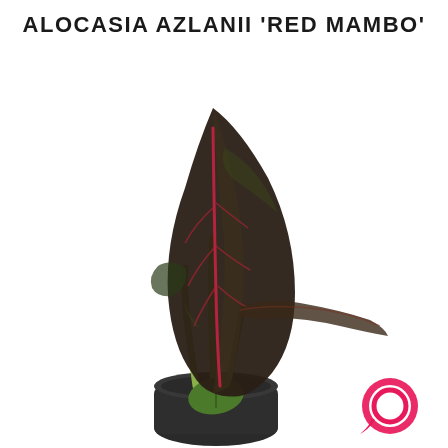ALOCASIA AZLANII 'RED MAMBO'
[Figure (photo): Alocasia azlanii 'Red Mambo' plant with large dark brownish-maroon leaves with red veins, in a small dark green pot, on a white background. A pink speech bubble icon is visible in the lower right.]